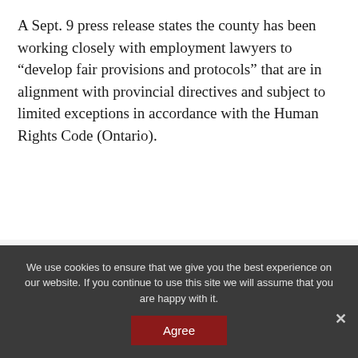A Sept. 9 press release states the county has been working closely with employment lawyers to “develop fair provisions and protocols” that are in alignment with provincial directives and subject to limited exceptions in accordance with the Human Rights Code (Ontario).
Related Articles
COVID-19 vaccinations required for all new county employees
We use cookies to ensure that we give you the best experience on our website. If you continue to use this site we will assume that you are happy with it.